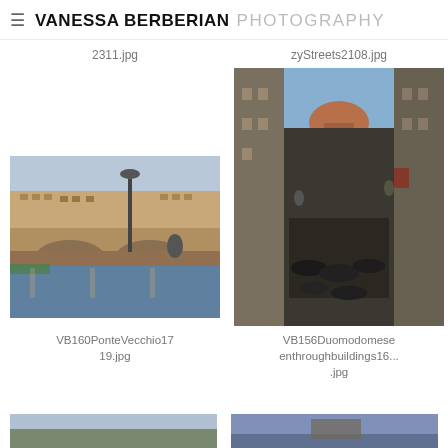≡ VANESSA BERBERIAN PHOTOGRAPHY
2311.jpg
zyStreets2108.jpg
[Figure (photo): Ponte Vecchio bridge over the Arno river in Florence, Italy, with a lamp post in the foreground and a person leaning on the railing]
[Figure (photo): Narrow street in Florence with motorcycles and scooters parked, with the Duomo dome visible between buildings at the end of the street]
VB160PonteVecchio1719.jpg
VB156Duomodomoseenthroughbuildings16...jpg
[Figure (photo): Partial view of a photo at bottom left, showing a street or landscape scene]
[Figure (photo): Partial view of a photo at bottom right, showing sky and buildings]